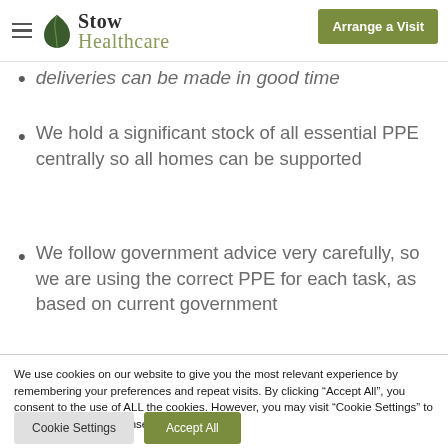Stow Healthcare — Arrange a Visit
deliveries can be made in good time
We hold a significant stock of all essential PPE centrally so all homes can be supported
We follow government advice very carefully, so we are using the correct PPE for each task, as based on current government
We use cookies on our website to give you the most relevant experience by remembering your preferences and repeat visits. By clicking “Accept All”, you consent to the use of ALL the cookies. However, you may visit "Cookie Settings" to provide a controlled consent.